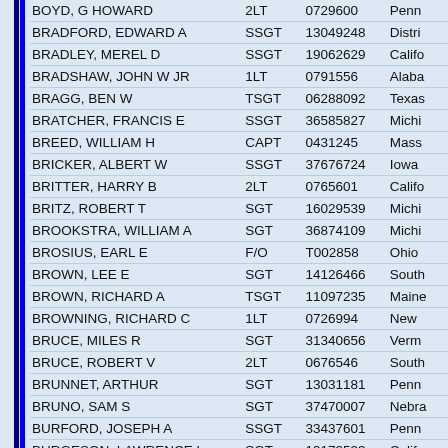| Name | Rank | ID | State |
| --- | --- | --- | --- |
| BOYD, G HOWARD | 2LT | 0729600 | Penn |
| BRADFORD, EDWARD A | SSGT | 13049248 | Distri |
| BRADLEY, MEREL D | SSGT | 19062629 | Califo |
| BRADSHAW, JOHN W JR | 1LT | 0791556 | Alaba |
| BRAGG, BEN W | TSGT | 06288092 | Texas |
| BRATCHER, FRANCIS E | SSGT | 36585827 | Michi |
| BREED, WILLIAM H | CAPT | 0431245 | Mass |
| BRICKER, ALBERT W | SSGT | 37676724 | Iowa |
| BRITTER, HARRY B | 2LT | 0765601 | Califo |
| BRITZ, ROBERT T | SGT | 16029539 | Michi |
| BROOKSTRA, WILLIAM A | SGT | 36874109 | Michi |
| BROSIUS, EARL E | F/O | T002858 | Ohio |
| BROWN, LEE E | SGT | 14126466 | South |
| BROWN, RICHARD A | TSGT | 11097235 | Maine |
| BROWNING, RICHARD C | 1LT | 0726994 | New |
| BRUCE, MILES R | SGT | 31340656 | Verm |
| BRUCE, ROBERT V | 2LT | 0676546 | South |
| BRUNNET, ARTHUR | SGT | 13031181 | Penn |
| BRUNO, SAM S | SGT | 37470007 | Nebra |
| BURFORD, JOSEPH A | SSGT | 33437601 | Penn |
| BURGESON, LAWRENCE L | SGT | 19173533 | Califo |
| BURNETTE, R L | SSGT | 14189079 | Florid |